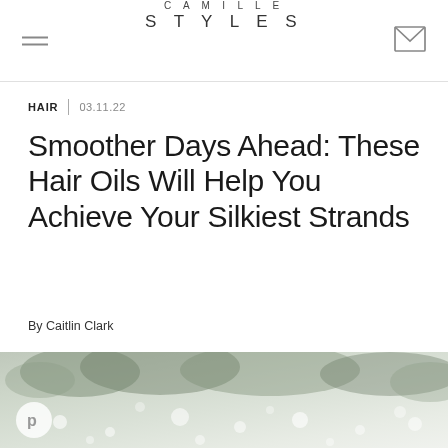CAMILLE STYLES
HAIR | 03.11.22
Smoother Days Ahead: These Hair Oils Will Help You Achieve Your Silkiest Strands
By Caitlin Clark
[Figure (photo): Outdoor winter/snowy scene with bokeh snow dots and trees in background, bottom portion of article hero image]